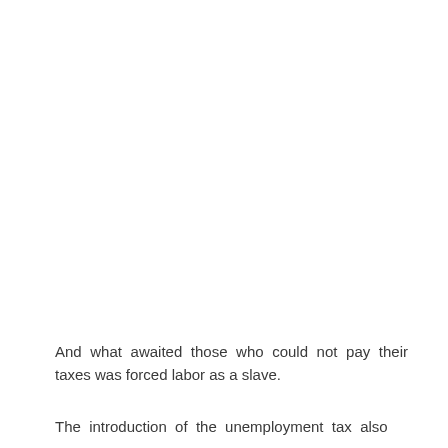And what awaited those who could not pay their taxes was forced labor as a slave.
The introduction of the unemployment tax also